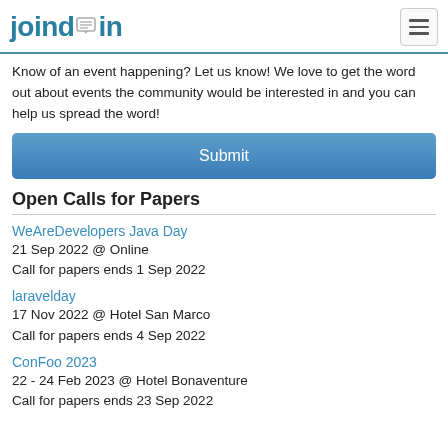joind.in
Know of an event happening? Let us know! We love to get the word out about events the community would be interested in and you can help us spread the word!
Submit
Open Calls for Papers
WeAreDevelopers Java Day
21 Sep 2022 @ Online
Call for papers ends 1 Sep 2022
laravelday
17 Nov 2022 @ Hotel San Marco
Call for papers ends 4 Sep 2022
ConFoo 2023
22 - 24 Feb 2023 @ Hotel Bonaventure
Call for papers ends 23 Sep 2022